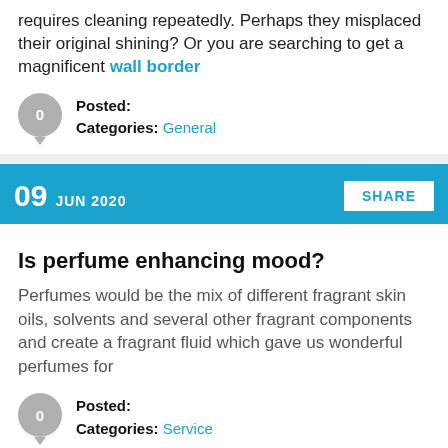requires cleaning repeatedly. Perhaps they misplaced their original shining? Or you are searching to get a magnificent wall border
Posted:
Categories: General
09 JUN 2020 | SHARE
Is perfume enhancing mood?
Perfumes would be the mix of different fragrant skin oils, solvents and several other fragrant components and create a fragrant fluid which gave us wonderful perfumes for
Posted:
Categories: Service